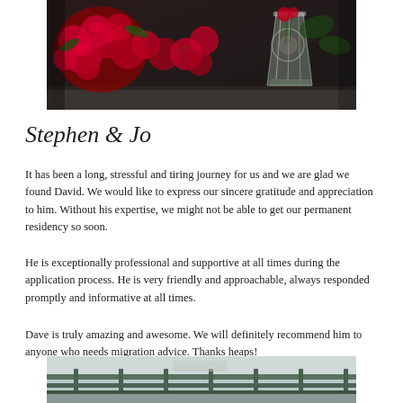[Figure (photo): Photo of red roses and a crystal glass vase on a dark surface]
Stephen & Jo
It has been a long, stressful and tiring journey for us and we are glad we found David. We would like to express our sincere gratitude and appreciation to him. Without his expertise, we might not be able to get our permanent residency so soon.
He is exceptionally professional and supportive at all times during the application process. He is very friendly and approachable, always responded promptly and informative at all times.
Dave is truly amazing and awesome. We will definitely recommend him to anyone who needs migration advice. Thanks heaps!
[Figure (photo): Partial photo of an outdoor scene with a railing, partially visible at bottom of page]